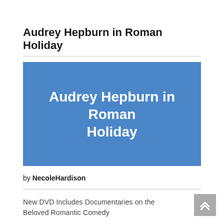Audrey Hepburn in Roman Holiday
[Figure (illustration): Blue rectangular image placeholder with white bold text reading 'Audrey Hepburn in Roman Holiday' centered on it]
by NecoleHardison
New DVD Includes Documentaries on the Beloved Romantic Comedy